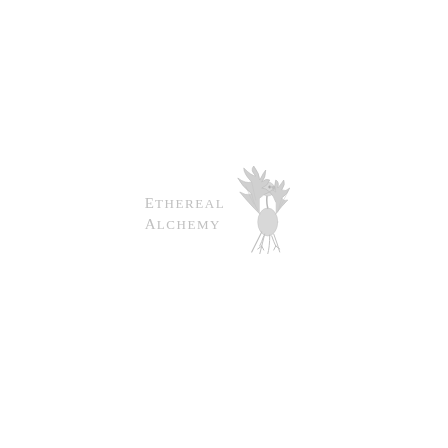[Figure (logo): Ethereal Alchemy logo: a stylized phoenix or bird figure in light grey to the right of the text, with the brand name 'Ethereal Alchemy' in spaced serif capital letters in light grey, positioned slightly left of center on the page.]